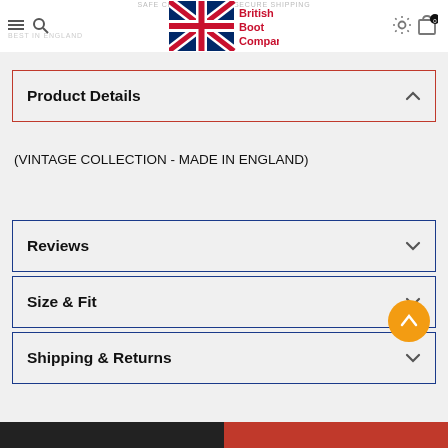SAFE CHECKOUT WITH SECURE SHIPPING
BEST IN ENGLAND
[Figure (logo): British Boot Company logo with Union Jack X design and red text]
Product Details
(VINTAGE COLLECTION - MADE IN ENGLAND)
Reviews
Size & Fit
Shipping & Returns